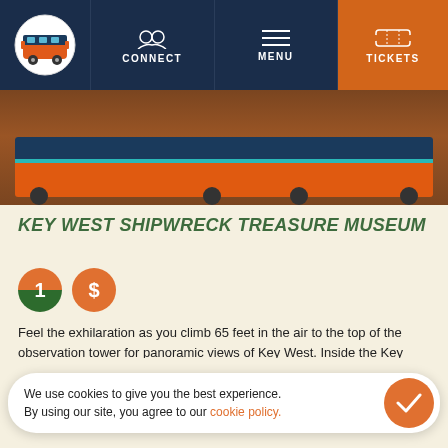CONNECT | MENU | TICKETS
[Figure (photo): Trolley vehicle on dirt road, orange and teal colored]
KEY WEST SHIPWRECK TREASURE MUSEUM
[Figure (infographic): Orange circle with number 1 (split green/orange) and orange dollar sign circle]
Feel the exhilaration as you climb 65 feet in the air to the top of the observation tower for panoramic views of Key West. Inside the Key West Shipwreck Treasure Museum, you'll have that opportunity and more. Find out how those who made their living off shipwrecks in the 1850s watched and waited for ships sinking off the coast in Key West.
MORE INFO
We use cookies to give you the best experience. By using our site, you agree to our cookie policy.